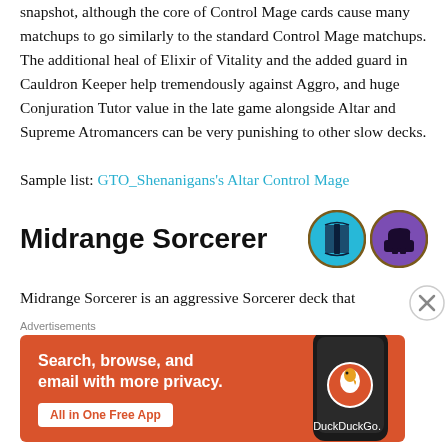snapshot, although the core of Control Mage cards cause many matchups to go similarly to the standard Control Mage matchups. The additional heal of Elixir of Vitality and the added guard in Cauldron Keeper help tremendously against Aggro, and huge Conjuration Tutor value in the late game alongside Altar and Supreme Atromancers can be very punishing to other slow decks.
Sample list: GTO_Shenanigans's Altar Control Mage
Midrange Sorcerer
[Figure (illustration): Two circular game icons: a blue circle with an open book symbol, and a purple circle with a black anvil symbol, both with gold/dark borders]
Midrange Sorcerer is an aggressive Sorcerer deck that
Advertisements
[Figure (infographic): DuckDuckGo advertisement banner with orange background. Text reads: Search, browse, and email with more privacy. All in One Free App. Shows a smartphone with the DuckDuckGo app and logo.]